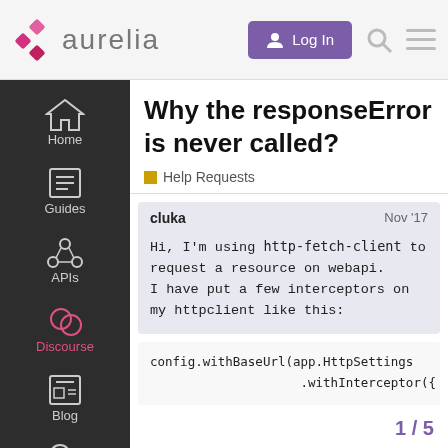[Figure (logo): Aurelia logo with pink/magenta X cross icon and 'aurelia' text]
[Figure (screenshot): Log In button (purple), search icon, hamburger menu icon in top-right header]
[Figure (screenshot): Left sidebar with dark background showing Home, Guides, APIs, Discourse (active/pink), Blog, Support navigation icons]
Why the responseError is never called?
Help Requests
cluka    Nov '17
Hi, I'm using http-fetch-client to request a resource on webapi.
I have put a few interceptors on my httpclient like this:
config.withBaseUrl(app.HttpSettings
                    .withInterceptor({
1 / 5